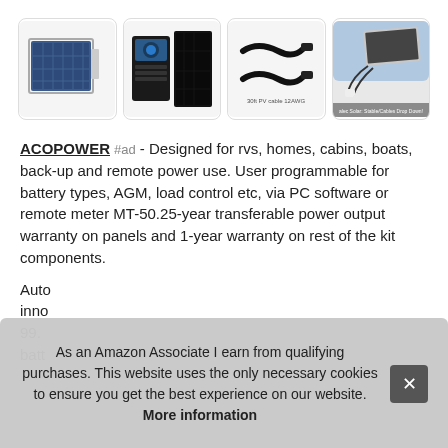[Figure (photo): Four product images in a row: solar panel, charge controller with panel, PV cables (30ft 12AWG), and flexible solar panel installed on roof]
ACOPOWER #ad - Designed for rvs, homes, cabins, boats, back-up and remote power use. User programmable for battery types, AGM, load control etc, via PC software or remote meter MT-50.25-year transferable power output warranty on panels and 1-year warranty on rest of the kit components.
Auto... inno... 99. batt...
As an Amazon Associate I earn from qualifying purchases. This website uses the only necessary cookies to ensure you get the best experience on our website. More information